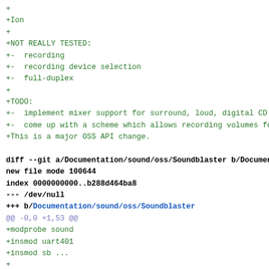+
+Ion
+
+NOT REALLY TESTED:
+- recording
+- recording device selection
+- full-duplex
+
+TODO:
+- implement mixer support for surround, loud, digital CD swi
+- come up with a scheme which allows recording volumes for e
+This is a major OSS API change.

diff --git a/Documentation/sound/oss/Soundblaster b/Documenta
new file mode 100644
index 0000000000..b288d464ba8
--- /dev/null
+++ b/Documentation/sound/oss/Soundblaster
@@ -0,0 +1,53 @@
+modprobe sound
+insmod uart401
+insmod sb ...
+
+This loads the driver for the Sound Blaster and assorted clo
+are covered by other drivers should not be using this driver
+